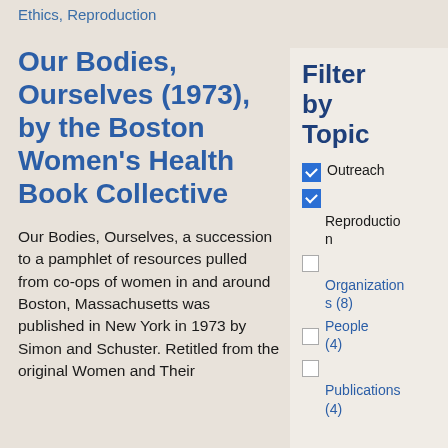Ethics, Reproduction
Our Bodies, Ourselves (1973), by the Boston Women's Health Book Collective
Our Bodies, Ourselves, a succession to a pamphlet of resources pulled from co-ops of women in and around Boston, Massachusetts was published in New York in 1973 by Simon and Schuster. Retitled from the original Women and Their
Filter by Topic
Outreach (checked)
Reproduction (checked)
Organizations (8)
People (4)
Publications (4)